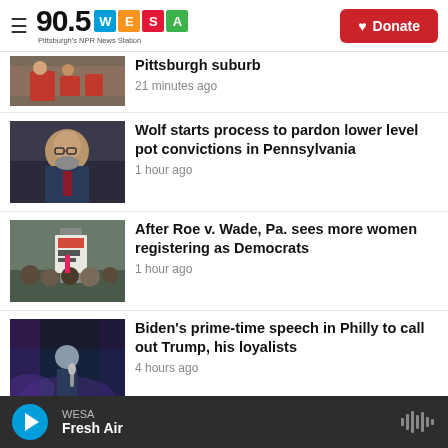90.5 WESA Pittsburgh's NPR News Station
[Figure (photo): Partially visible news thumbnail showing people seated in red chairs]
Pittsburgh suburb
21 minutes ago
[Figure (photo): Headshot of a bald man with glasses and gray beard in a suit]
Wolf starts process to pardon lower level pot convictions in Pennsylvania
1 hour ago
[Figure (photo): Protest crowd with signs including one reading DEVASTATED]
After Roe v. Wade, Pa. sees more women registering as Democrats
1 hour ago
[Figure (photo): Person speaking at a microphone on a stage with blue lighting]
Biden's prime-time speech in Philly to call out Trump, his loyalists
4 hours ago
WESA Fresh Air